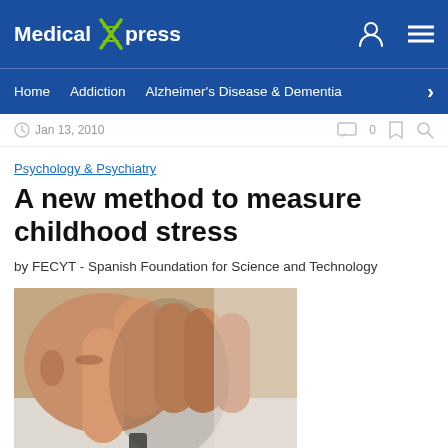Medical Xpress
Home  Addiction  Alzheimer's Disease & Dementia
Jan 13, 2010
Psychology & Psychiatry
A new method to measure childhood stress
by FECYT - Spanish Foundation for Science and Technology
[Figure (photo): Close-up photo of a child covering their face with their hand, appearing stressed or upset, wearing a white shirt]